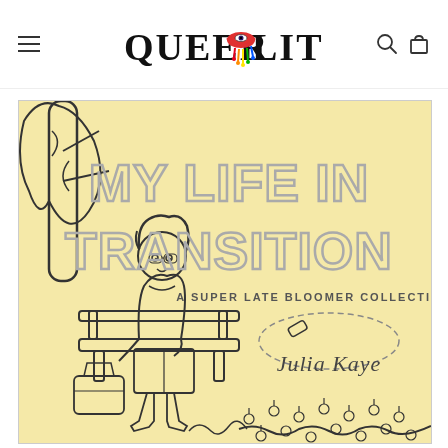QUEER LIT — navigation header with logo, menu, search, and cart icons
[Figure (illustration): Book cover of 'My Life in Transition: A Super Late Bloomer Collection' by Julia Kaye. Illustrated cover with yellow/cream background showing a cartoon person with curly hair sitting on a bench under a tree, reading/drawing. Large outlined block text reads 'MY LIFE IN TRANSITION' with subtitle 'A SUPER LATE BLOOMER COLLECTION' and author name 'JULIA KAYE' in stylized lettering. Decorative flowers and foliage in background.]